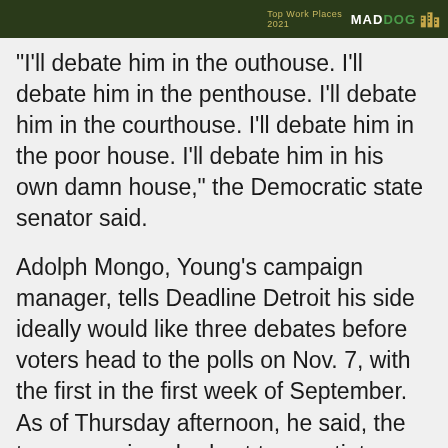[Figure (logo): Dark olive green header bar with 'Top Work Places 2021' text and MADDOG logo with building icons on right side]
"I'll debate him in the outhouse. I'll debate him in the penthouse. I'll debate him in the courthouse. I'll debate him in the poor house. I'll debate him in his own damn house," the Democratic state senator said.
Adolph Mongo, Young's campaign manager, tells Deadline Detroit his side ideally would like three debates before voters head to the polls on Nov. 7, with the first in the first week of September. As of Thursday afternoon, he said, the two campaigns had yet to negotiate details.
They'd like at least one debate at the Charles H. Wright Museum of African